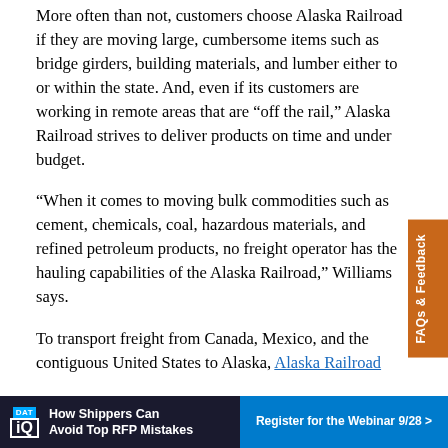More often than not, customers choose Alaska Railroad if they are moving large, cumbersome items such as bridge girders, building materials, and lumber either to or within the state. And, even if its customers are working in remote areas that are “off the rail,” Alaska Railroad strives to deliver products on time and under budget.
“When it comes to moving bulk commodities such as cement, chemicals, coal, hazardous materials, and refined petroleum products, no freight operator has the hauling capabilities of the Alaska Railroad,” Williams says.
To transport freight from Canada, Mexico, and the contiguous United States to Alaska, Alaska Railroad
[Figure (other): FAQs & Feedback vertical tab on the right side of the page, orange background]
[Figure (other): DAT IQ advertisement banner at the bottom: 'How Shippers Can Avoid Top RFP Mistakes' with 'Register for the Webinar 9/28 >' button]